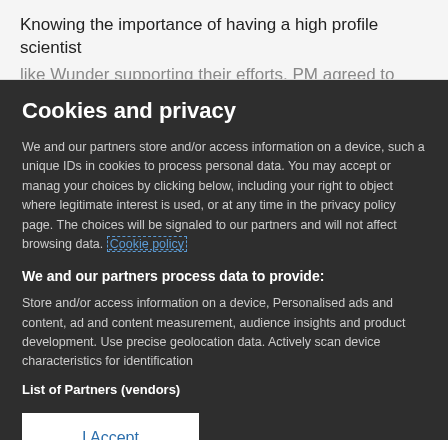Knowing the importance of having a high profile scientist like Wunder supporting their efforts, PM agreed to make
Cookies and privacy
We and our partners store and/or access information on a device, such as unique IDs in cookies to process personal data. You may accept or manage your choices by clicking below, including your right to object where legitimate interest is used, or at any time in the privacy policy page. These choices will be signaled to our partners and will not affect browsing data. Cookie policy
We and our partners process data to provide:
Store and/or access information on a device, Personalised ads and content, ad and content measurement, audience insights and product development. Use precise geolocation data. Actively scan device characteristics for identification
List of Partners (vendors)
I Accept